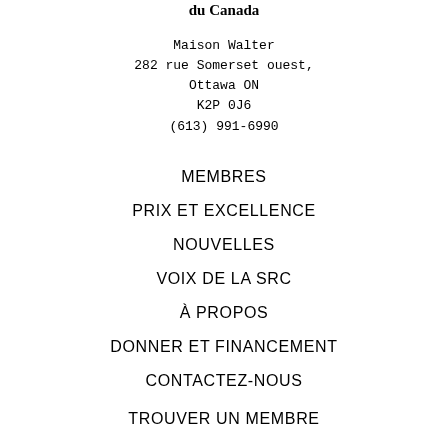du Canada
Maison Walter
282 rue Somerset ouest,
Ottawa ON
K2P 0J6
(613) 991-6990
MEMBRES
PRIX ET EXCELLENCE
NOUVELLES
VOIX DE LA SRC
À PROPOS
DONNER ET FINANCEMENT
CONTACTEZ-NOUS
TROUVER UN MEMBRE